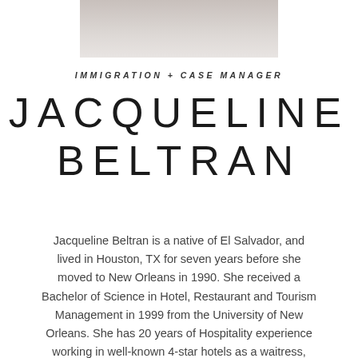[Figure (photo): Partial portrait photo of Jacqueline Beltran, cropped at top]
IMMIGRATION + CASE MANAGER
JACQUELINE BELTRAN
Jacqueline Beltran is a native of El Salvador, and lived in Houston, TX for seven years before she moved to New Orleans in 1990. She received a Bachelor of Science in Hotel, Restaurant and Tourism Management in 1999 from the University of New Orleans. She has 20 years of Hospitality experience working in well-known 4-star hotels as a waitress, Restaurant Manager and in Human Resources.